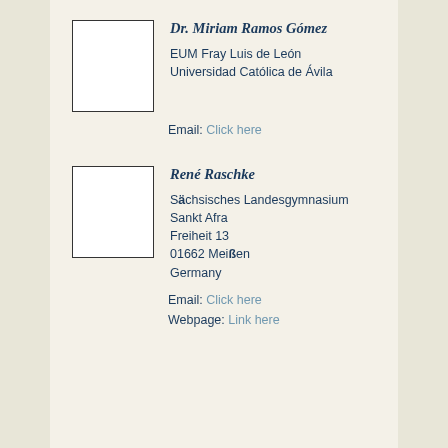Dr. Miriam Ramos Gómez
EUM Fray Luis de León
Universidad Católica de Ávila
Email: Click here
René Raschke
Sächsisches Landesgymnasium Sankt Afra
Freiheit 13
01662 Meißen
Germany
Email: Click here
Webpage: Link here